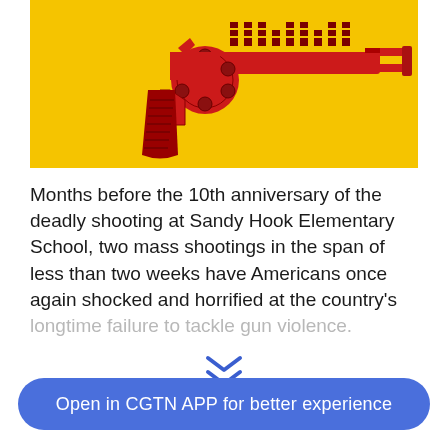[Figure (illustration): Red revolver handgun illustration with building/school imagery incorporated into the barrel, on a yellow/golden background]
Months before the 10th anniversary of the deadly shooting at Sandy Hook Elementary School, two mass shootings in the span of less than two weeks have Americans once again shocked and horrified at the country's longtime failure to tackle gun violence.
Open in CGTN APP for better experience